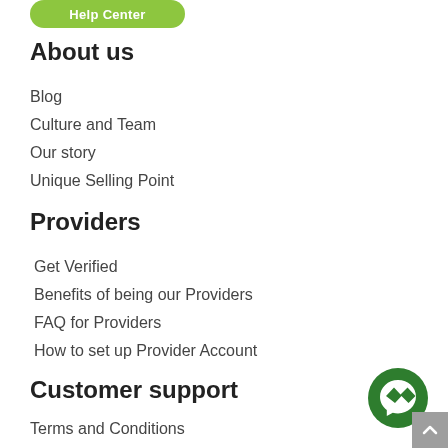[Figure (other): Green pill-shaped Help Center button partially visible at top]
About us
Blog
Culture and Team
Our story
Unique Selling Point
Providers
Get Verified
Benefits of being our Providers
FAQ for Providers
How to set up Provider Account
Customer support
Terms and Conditions
FAQ for Travelers
[Figure (other): Green circular Messenger chat button with lightning bolt icon]
[Figure (other): Grey scroll-to-top button with upward chevron arrow]